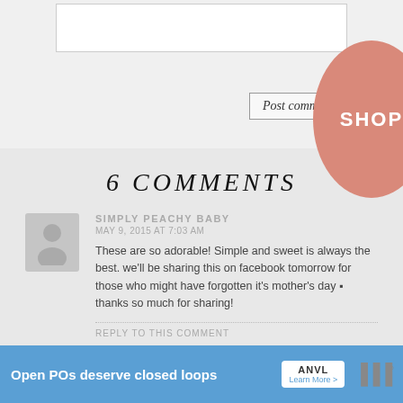Post comment
6 COMMENTS
SIMPLY PEACHY BABY
MAY 9, 2015 AT 7:03 AM
These are so adorable! Simple and sweet is always the best. we'll be sharing this on facebook tomorrow for those who might have forgotten it's mother's day ▪ thanks so much for sharing!
REPLY TO THIS COMMENT
SARA ALBERS
MAY 9, 2015 AT 10:52 AM
Thanks so much!
[Figure (infographic): SHOP oval button in peach/salmon color]
Open POs deserve closed loops